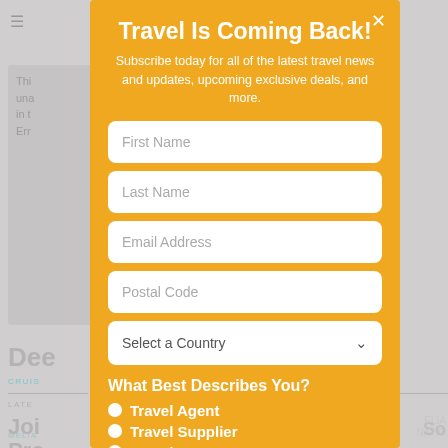[Figure (screenshot): Background newspaper/travel website page visible behind the modal, with gray text blocks, headings like 'Dee', 'CRUIS', 'LATEST', 'Join', 'MELIA']
Travel Is Coming Back!
Subscribe today for all of the latest travel news and updates, upcoming exclusive deals, and more.
First Name
Last Name
Email Address
Postal Code
Select a Country
What Best Describes You?
Travel Agent
Travel Supplier
Traveler